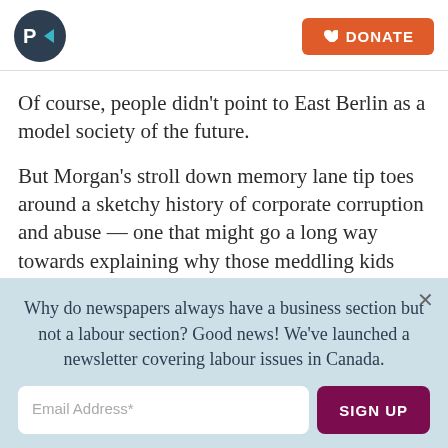P> [logo] | DONATE
Of course, people didn't point to East Berlin as a model society of the future.
But Morgan's stroll down memory lane tip toes around a sketchy history of corporate corruption and abuse — one that might go a long way towards explaining why those meddling kids now use corporate buzzwords for swearing.
Why do newspapers always have a business section but not a labour section? Good news! We've launched a newsletter covering labour issues in Canada.